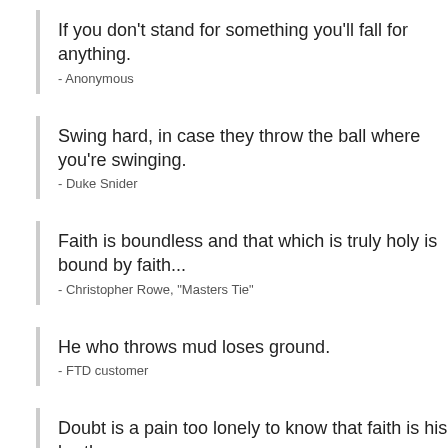If you don't stand for something you'll fall for anything.
- Anonymous
Swing hard, in case they throw the ball where you're swinging.
- Duke Snider
Faith is boundless and that which is truly holy is bound by faith...
- Christopher Rowe, "Masters Tie"
He who throws mud loses ground.
- FTD customer
Doubt is a pain too lonely to know that faith is his brother.